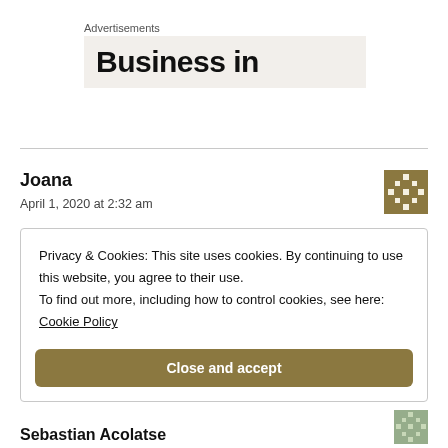Advertisements
[Figure (other): Advertisement banner showing partially visible text 'Business in' on a light beige background]
Joana
April 1, 2020 at 2:32 am
Privacy & Cookies: This site uses cookies. By continuing to use this website, you agree to their use.
To find out more, including how to control cookies, see here:
Cookie Policy
Close and accept
Sebastian Acolatse